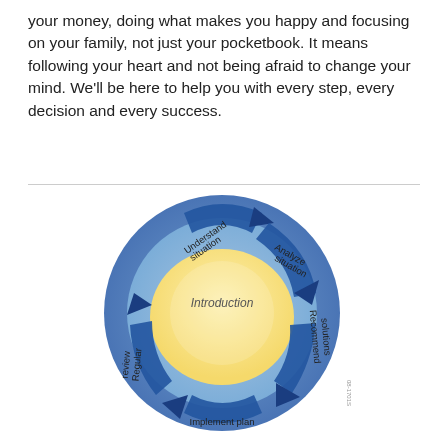your money, doing what makes you happy and focusing on your family, not just your pocketbook. It means following your heart and not being afraid to change your mind. We'll be here to help you with every step, every decision and every success.
[Figure (flowchart): Circular process diagram showing five stages: Understand situation (top), Analyze situation (upper right), Recommend solutions (right), Implement plan (bottom), Regular review (left), with 'Introduction' in the center. Blue arrows form a clockwise cycle around a light blue and yellow donut shape.]